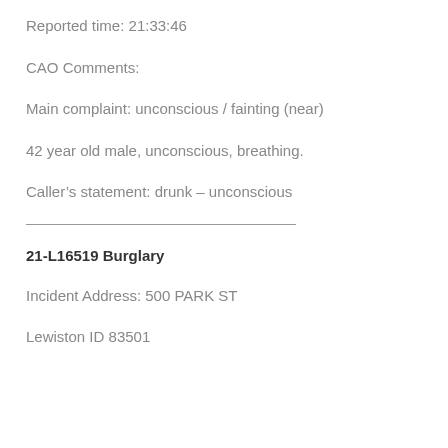Reported time: 21:33:46
CAO Comments:
Main complaint: unconscious / fainting (near)
42 year old male, unconscious, breathing.
Caller’s statement: drunk – unconscious
21-L16519 Burglary
Incident Address: 500 PARK ST
Lewiston ID 83501